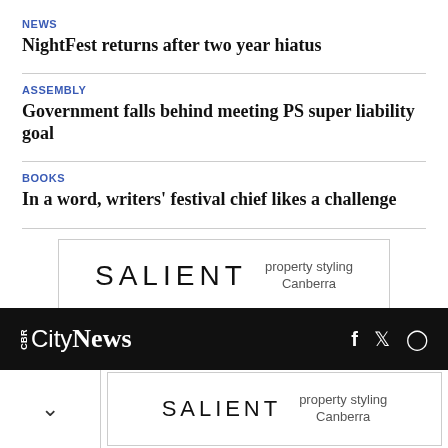NEWS
NightFest returns after two year hiatus
ASSEMBLY
Government falls behind meeting PS super liability goal
BOOKS
In a word, writers' festival chief likes a challenge
[Figure (logo): SALIENT property styling Canberra advertisement banner]
CBR CityNews | social icons: f, twitter, instagram
[Figure (logo): SALIENT property styling Canberra advertisement banner (bottom)]